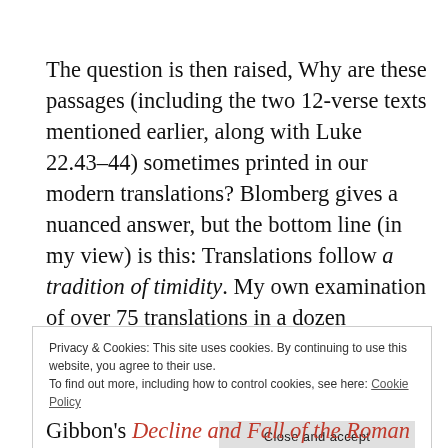The question is then raised, Why are these passages (including the two 12-verse texts mentioned earlier, along with Luke 22.43–44) sometimes printed in our modern translations? Blomberg gives a nuanced answer, but the bottom line (in my view) is this: Translations follow a tradition of timidity. My own examination of over 75 translations in a dozen different languages
Privacy & Cookies: This site uses cookies. By continuing to use this website, you agree to their use. To find out more, including how to control cookies, see here: Cookie Policy
Gibbon's Decline and Fall of the Roman Empire